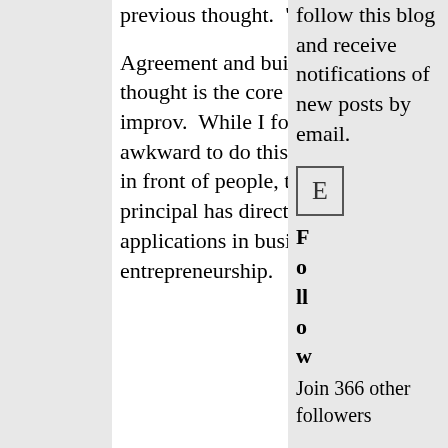previous thought.  "Yes, And".
Agreement and building onto a thought is the core essence of improv.  While I found it awkward to do this on stage, in front of people, the core principal has direct applications in business and entrepreneurship.
follow this blog and receive notifications of new posts by email.
[Figure (other): Email subscription button showing the letter E in a bordered box]
Follow
Join 366 other followers